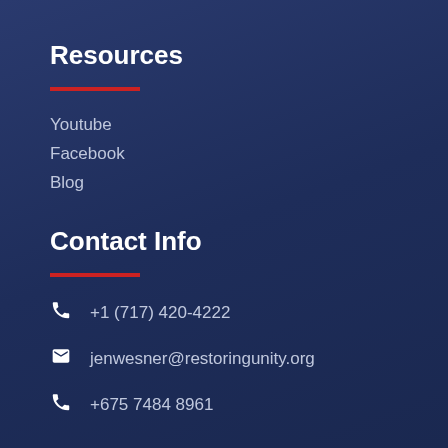Resources
Youtube
Facebook
Blog
Contact Info
+1 (717) 420-4222
jenwesner@restoringunity.org
+675 7484 8961